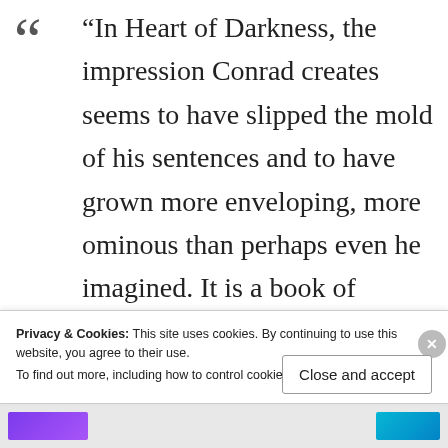“In Heart of Darkness, the impression Conrad creates seems to have slipped the mold of his sentences and to have grown more enveloping, more ominous than perhaps even he imagined. It is a book of extraordinary intensity, so
Privacy & Cookies: This site uses cookies. By continuing to use this website, you agree to their use. To find out more, including how to control cookies, see here: Cookie Policy
Close and accept